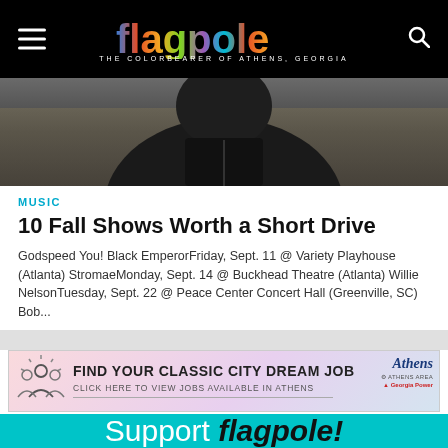flagpole — THE COLORBEARER OF ATHENS, GEORGIA
[Figure (photo): Black and white photo of a person wearing dark clothing against a natural background]
MUSIC
10 Fall Shows Worth a Short Drive
Godspeed You! Black EmperorFriday, Sept. 11 @ Variety Playhouse (Atlanta) StromaeMonday, Sept. 14 @ Buckhead Theatre (Atlanta) Willie NelsonTuesday, Sept. 22 @ Peace Center Concert Hall (Greenville, SC) Bob...
[Figure (infographic): Advertisement: FIND YOUR CLASSIC CITY DREAM JOB — CLICK HERE TO VIEW JOBS AVAILABLE IN ATHENS, with Athens and Georgia Power logos]
[Figure (infographic): Support flagpole! banner in teal/cyan color]